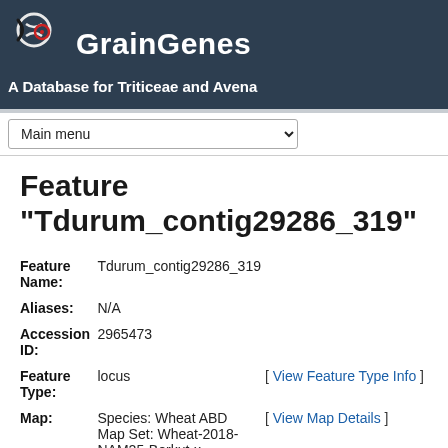GrainGenes — A Database for Triticeae and Avena
Feature "Tdurum_contig29286_319"
| Field | Value | Link |
| --- | --- | --- |
| Feature Name: | Tdurum_contig29286_319 |  |
| Aliases: | N/A |  |
| Accession ID: | 2965473 |  |
| Feature Type: | locus | [ View Feature Type Info ] |
| Map: | Species: Wheat ABD
Map Set: Wheat-2018-NAM25-Berkut-x-Cltr15134
Map Name: Wheat- | [ View Map Details ] |